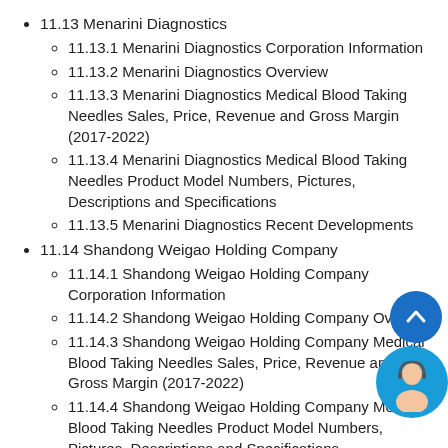11.13 Menarini Diagnostics
11.13.1 Menarini Diagnostics Corporation Information
11.13.2 Menarini Diagnostics Overview
11.13.3 Menarini Diagnostics Medical Blood Taking Needles Sales, Price, Revenue and Gross Margin (2017-2022)
11.13.4 Menarini Diagnostics Medical Blood Taking Needles Product Model Numbers, Pictures, Descriptions and Specifications
11.13.5 Menarini Diagnostics Recent Developments
11.14 Shandong Weigao Holding Company
11.14.1 Shandong Weigao Holding Company Corporation Information
11.14.2 Shandong Weigao Holding Company Overview
11.14.3 Shandong Weigao Holding Company Medical Blood Taking Needles Sales, Price, Revenue and Gross Margin (2017-2022)
11.14.4 Shandong Weigao Holding Company Medical Blood Taking Needles Product Model Numbers, Pictures, Descriptions and Specifications